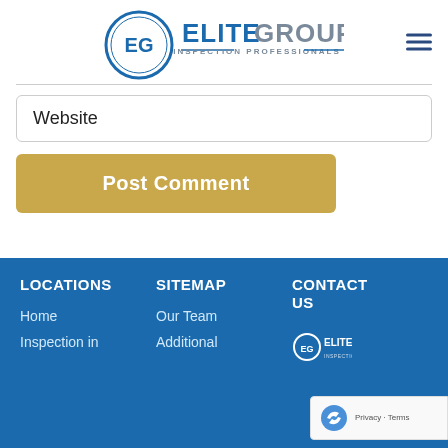[Figure (logo): Elite Group Inspection Professionals logo with circular EG emblem and company name]
Website
Post Comment
LOCATIONS
SITEMAP
CONTACT US
Home
Our Team
Inspection in
Additional